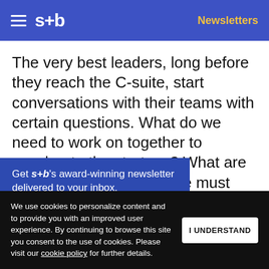s+b | Newsletters
The very best leaders, long before they reach the C-suite, start conversations with their teams with certain questions. What do we need to work on together to accelerate the strategy? What are the three priorities that we must tackle as a team? The answers then drive meeting agendas, guide how decisions are made, and connect solutions to the right people at this level.
Get s+b's award-winning newsletter delivered to your inbox.
We use cookies to personalize content and to provide you with an improved user experience. By continuing to browse this site you consent to the use of cookies. Please visit our cookie policy for further details.